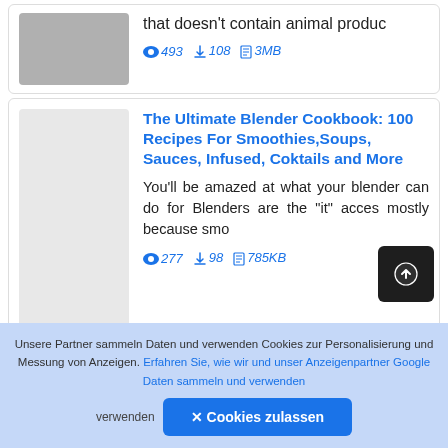that doesn't contain animal produc
👁 493  ⬇ 108  🗋 3MB
The Ultimate Blender Cookbook: 100 Recipes For Smoothies,Soups, Sauces, Infused, Coktails and More
You'll be amazed at what your blender can do for Blenders are the "it" acces mostly because smo
👁 277  ⬇ 98  🗋 785KB
Unsere Partner sammeln Daten und verwenden Cookies zur Personalisierung und Messung von Anzeigen. Erfahren Sie, wie wir und unser Anzeigenpartner Google Daten sammeln und verwenden
✕ Cookies zulassen